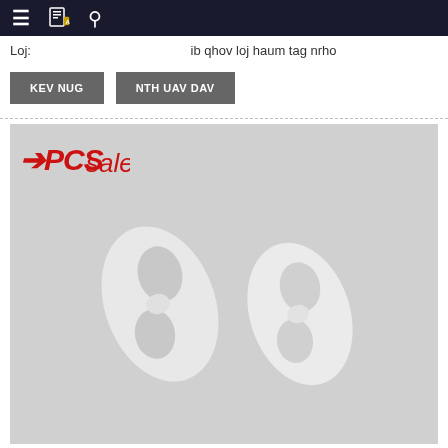Navigation bar with menu, book, and search icons
Loj:    ib qhov loj haum tag nrho
KEV NUG    NTH UAV DAV
[Figure (photo): Product photo showing two white plastic earphone ear tip rings/wings on a grey background, with PCSsale logo in red italic text at the top left corner of the image.]